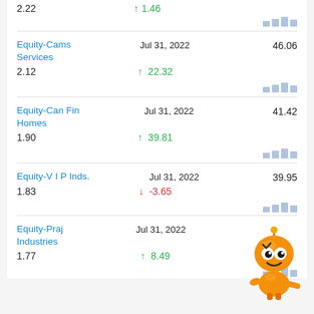2.22    ↑ 1.46
Equity-Cams Services    Jul 31, 2022    46.06
2.12    ↑ 22.32
Equity-Can Fin Homes    Jul 31, 2022    41.42
1.90    ↑ 39.81
Equity-V I P Inds.    Jul 31, 2022    39.95
1.83    ↓ -3.65
Equity-Praj Industries    Jul 31, 2022
1.77    ↑ 8.49
[Figure (illustration): Orange robot mascot character]